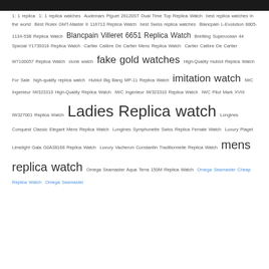[Figure (other): Dark header bar at top of page]
1: 1 replica 1: 1 replica watches Audemars Piguet 26120ST Dual Time Top Replica Watch best replica watches in the world Best Rolex GMT-Master II 116713 Replica Watch best Swiss replica watches Blancpain L-Evolution 8805-1134-53B Replica Watch Blancpain Villeret 6651 Replica Watch Breitling Superocean 44 Special Y1739316 Replica Watch Cartier Calibre De Cartier Mens Replica Watch Cartier Calibre De Cartier W7100057 Replica Watch clone watch fake gold watches High-Quality Hublot Replica Watch For Sale high-quality replica watch Hublot Big Bang MP-11 Replica Watch imitation watch IWC Ingenieur IW323310 High-Quality Replica Watch IWC Ingenieur IW323310 Replica Watch IWC Pilot Mark XVIII IW327001 Replica Watch Ladies Replica watch Longines Conquest Classic Elegant Mens Replica Watch Longines Symphonette Swiss Replica Female Watch Luxury Piaget Limelight Gala G0A38168 Replica Watch Luxury Vacheron Constantin Traditionnelle Replica Watch mens replica watch Omega Seamaster Aqua Terra 150M Replica Watch Omega Seamaster Cheap Replica Watch Omega Seamaster